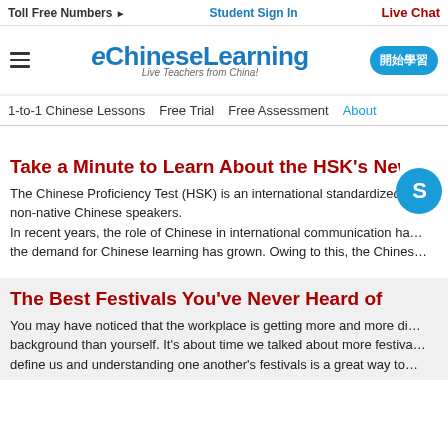Toll Free Numbers ▶   Student Sign In   Live Chat
[Figure (logo): eChineseLearning logo with tagline 'Live Teachers from China!']
1-to-1 Chinese Lessons   Free Trial   Free Assessment   About
Take a Minute to Learn About the HSK's New C…g
The Chinese Proficiency Test (HSK) is an international standardized t… non-native Chinese speakers.
In recent years, the role of Chinese in international communication ha… the demand for Chinese learning has grown. Owing to this, the Chines…
The Best Festivals You've Never Heard of
You may have noticed that the workplace is getting more and more di… background than yourself. It's about time we talked about more festiva… define us and understanding one another's festivals is a great way to…